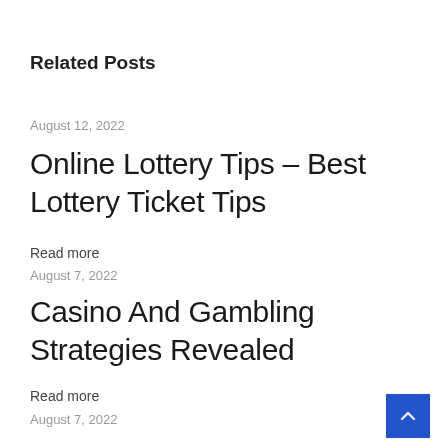Related Posts
August 12, 2022
Online Lottery Tips – Best Lottery Ticket Tips
Read more
August 7, 2022
Casino And Gambling Strategies Revealed
Read more
August 7, 2022